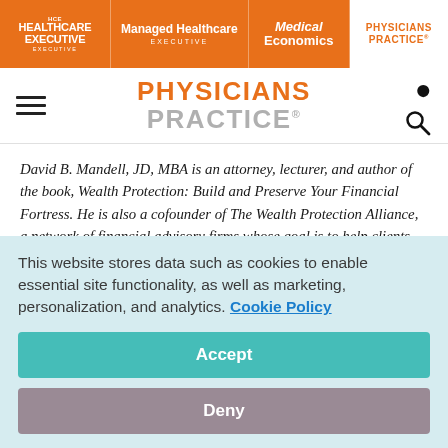HCE HEALTHCARE EXECUTIVE | Managed Healthcare EXECUTIVE | Medical Economics | PHYSICIANS PRACTICE
PHYSICIANS PRACTICE
David B. Mandell, JD, MBA is an attorney, lecturer, and author of the book, Wealth Protection: Build and Preserve Your Financial Fortress. He is also a cofounder of The Wealth Protection Alliance, a network of financial advisory firms whose goal is to help clients build and preserve their wealth. Sandy Stokes, III, CPA, MBA, has been serving the financial
This website stores data such as cookies to enable essential site functionality, as well as marketing, personalization, and analytics. Cookie Policy
Accept
Deny